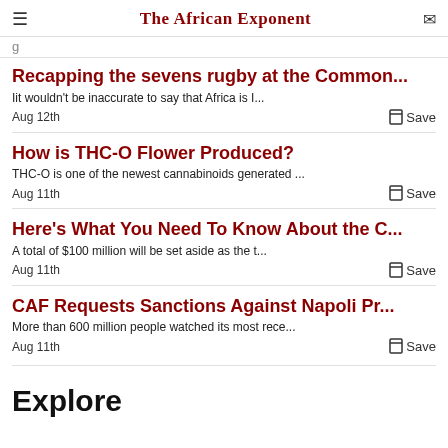The African Exponent
g
Recapping the sevens rugby at the Common...
Iit wouldn't be inaccurate to say that Africa is I...
Aug 12th   Save
How is THC-O Flower Produced?
THC-O is one of the newest cannabinoids generated ...
Aug 11th   Save
Here's What You Need To Know About the C...
A total of $100 million will be set aside as the t...
Aug 11th   Save
CAF Requests Sanctions Against Napoli Pr...
More than 600 million people watched its most rece...
Aug 11th   Save
Explore